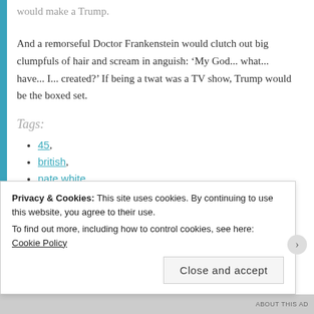would make a Trump.
And a remorseful Doctor Frankenstein would clutch out big clumpfuls of hair and scream in anguish: ‘My God... what... have... I... created?’ If being a twat was a TV show, Trump would be the boxed set.
Tags:
45,
british,
nate white,
Privacy & Cookies: This site uses cookies. By continuing to use this website, you agree to their use.
To find out more, including how to control cookies, see here: Cookie Policy
Close and accept